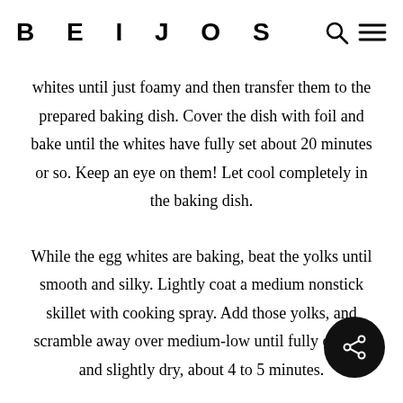BEIJOS
whites until just foamy and then transfer them to the prepared baking dish. Cover the dish with foil and bake until the whites have fully set about 20 minutes or so. Keep an eye on them! Let cool completely in the baking dish.
While the egg whites are baking, beat the yolks until smooth and silky. Lightly coat a medium nonstick skillet with cooking spray. Add those yolks, and scramble away over medium-low until fully cooked and slightly dry, about 4 to 5 minutes.
Transfer the yolks to a food processor. Add the